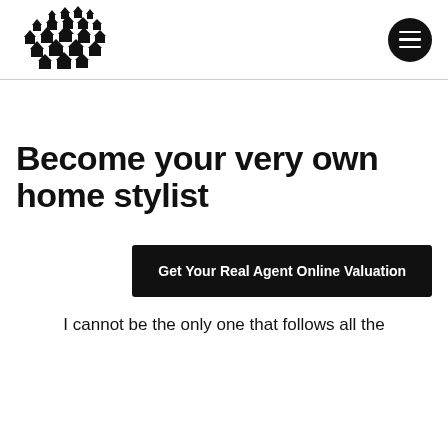[Figure (logo): Logo made of many small house icons arranged in a cloud/cluster shape]
Become your very own home stylist
Get Your Real Agent Online Valuation
I cannot be the only one that follows all the